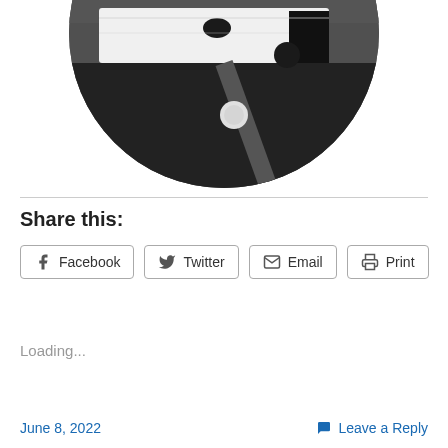[Figure (photo): Circular cropped close-up photo of folded clothing items in black, white, and dark gray colors with buttons visible]
Share this:
Facebook  Twitter  Email  Print
Loading...
June 8, 2022    Leave a Reply